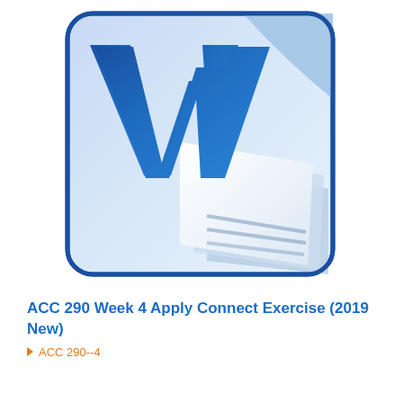[Figure (logo): Microsoft Word application logo — blue rounded-rectangle icon with large white 'W' letter and stylized paper pages fanning out at bottom right]
ACC 290 Week 4 Apply Connect Exercise (2019 New)
ACC 290--4